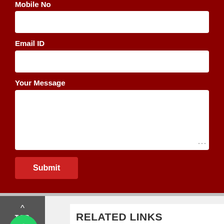Mobile No
Email ID
Your Message
Submit
TOP
RELATED LINKS